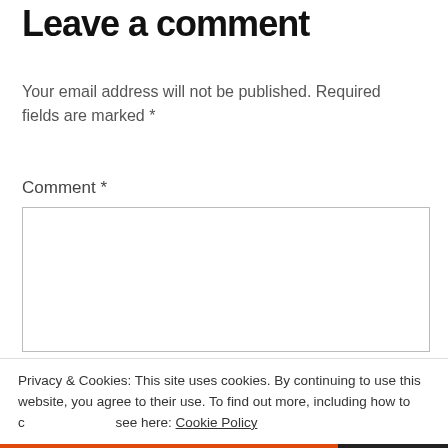Leave a comment
Your email address will not be published. Required fields are marked *
Comment *
Privacy & Cookies: This site uses cookies. By continuing to use this website, you agree to their use. To find out more, including how to control cookies, see here: Cookie Policy
Close and accept